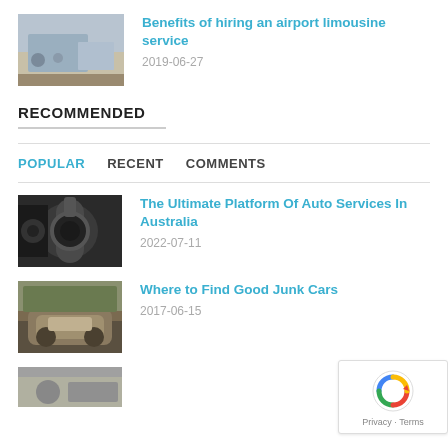[Figure (photo): People with luggage near an aircraft at an airport]
Benefits of hiring an airport limousine service
2019-06-27
RECOMMENDED
POPULAR   RECENT   COMMENTS
[Figure (photo): Mechanic working on a car wheel/tire]
The Ultimate Platform Of Auto Services In Australia
2022-07-11
[Figure (photo): Old rusty junk cars in a field]
Where to Find Good Junk Cars
2017-06-15
[Figure (photo): Partial photo at bottom, content cut off]